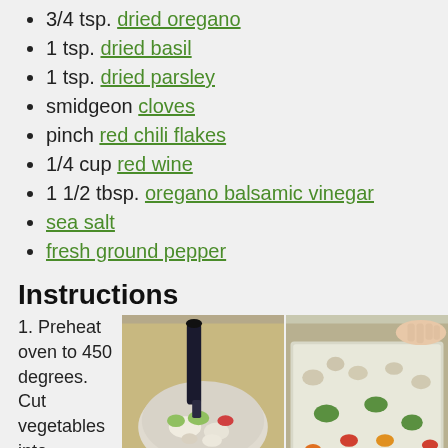3/4 tsp. dried oregano
1 tsp. dried basil
1 tsp. dried parsley
smidgeon cloves
pinch red chili flakes
1/4 cup red wine
1 1/2 tbsp. oregano balsamic vinegar
sea salt
fresh ground pepper
Instructions
Preheat oven to 450 degrees. Cut vegetables into
[Figure (photo): Bowl with mixed vegetables being prepared, dark bottle pouring liquid]
[Figure (photo): Baking tray with colorful mixed vegetables spread out]
[Figure (photo): Bottom left partial photo, dark oven or cooking surface]
[Figure (photo): Bottom right partial photo, dish with vegetables]